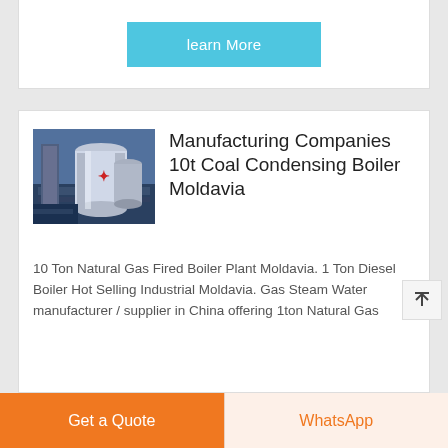[Figure (screenshot): Learn More button — cyan/teal background with white text]
[Figure (photo): Industrial boiler equipment photo showing cylindrical vessels and pipes in a factory setting]
Manufacturing Companies 10t Coal Condensing Boiler Moldavia
10 Ton Natural Gas Fired Boiler Plant Moldavia. 1 Ton Diesel Boiler Hot Selling Industrial Moldavia. Gas Steam Water manufacturer / supplier in China offering 1ton Natural Gas
Get a Quote
WhatsApp